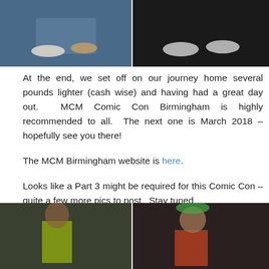[Figure (photo): Top-left photo showing feet/shoes on a blue background]
[Figure (photo): Top-right photo showing feet/shoes in sneakers on a dark background]
At the end, we set off on our journey home several pounds lighter (cash wise) and having had a great day out.  MCM Comic Con Birmingham is highly recommended to all.  The next one is March 2018 – hopefully see you there!
The MCM Birmingham website is here.
Looks like a Part 3 might be required for this Comic Con – quite a few more pics to post.  Stay tuned…
[Figure (photo): Bottom-left photo of a woman in a neon yellow costume at a comic con event]
[Figure (photo): Bottom-right photo of a woman in a tropical/Moana-style costume at a comic con event]